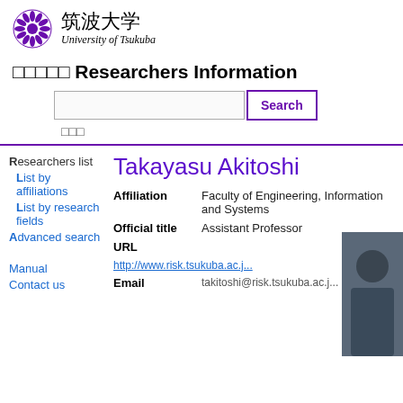[Figure (logo): University of Tsukuba logo with purple chrysanthemum emblem and text '筑波大学 University of Tsukuba']
□□□□□ Researchers Information
Search button and search input field
□□□
Takayasu Akitoshi
| Field | Value |
| --- | --- |
| Affiliation | Faculty of Engineering, Information and Systems |
| Official title | Assistant Professor |
| URL | http://www.risk.tsukuba.ac.j... |
| Email | takitoshi@risk.tsukuba.ac.j... |
Researchers list
List by affiliations
List by research fields
Advanced search
Manual
Contact us